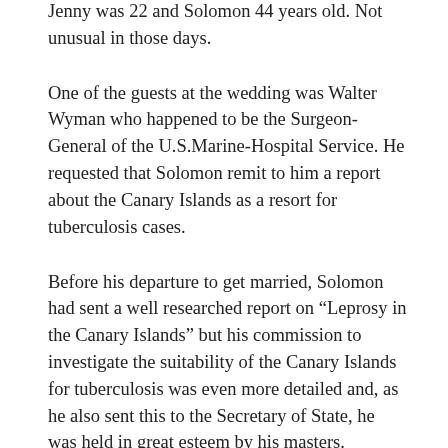Jenny was 22 and Solomon 44 years old. Not unusual in those days.
One of the guests at the wedding was Walter Wyman who happened to be the Surgeon-General of the U.S.Marine-Hospital Service. He requested that Solomon remit to him a report about the Canary Islands as a resort for tuberculosis cases.
Before his departure to get married, Solomon had sent a well researched report on “Leprosy in the Canary Islands” but his commission to investigate the suitability of the Canary Islands for tuberculosis was even more detailed and, as he also sent this to the Secretary of State, he was held in great esteem by his masters.